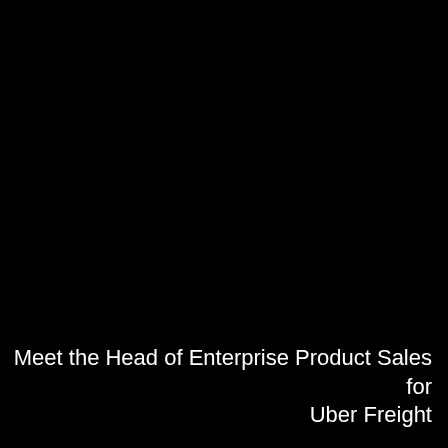Inside Business Development & Sales
[Figure (photo): Dark/black background image filling the center of the page, appears to be a portrait photo rendered very dark]
Meet the Head of Enterprise Product Sales for Uber Freight